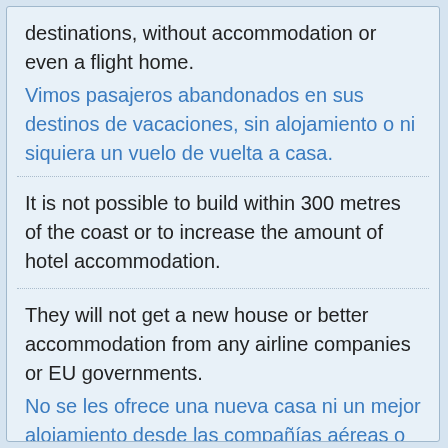destinations, without accommodation or even a flight home.
Vimos pasajeros abandonados en sus destinos de vacaciones, sin alojamiento o ni siquiera un vuelo de vuelta a casa.
It is not possible to build within 300 metres of the coast or to increase the amount of hotel accommodation.
They will not get a new house or better accommodation from any airline companies or EU governments.
No se les ofrece una nueva casa ni un mejor alojamiento desde las compañías aéreas o los gobiernos de la UE.